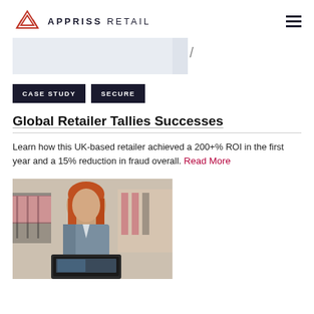APPRISS RETAIL
[Figure (illustration): Light blue/grey banner graphic with a diagonal slash element]
CASE STUDY   SECURE
Global Retailer Tallies Successes
Learn how this UK-based retailer achieved a 200+% ROI in the first year and a 15% reduction in fraud overall. Read More
[Figure (photo): A red-haired woman in a grey blazer looking at a retail point-of-sale screen terminal in a clothing store]